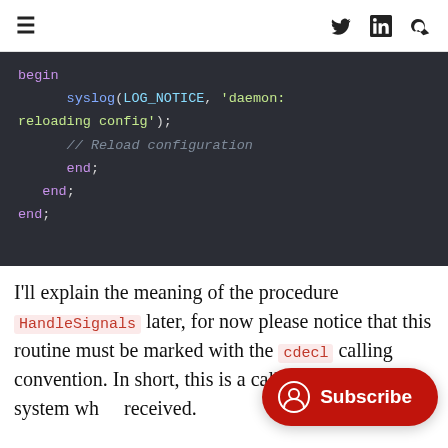≡  🐦  in  🔍
[Figure (screenshot): Code block on dark background showing Pascal/Delphi code: begin syslog(LOG_NOTICE, 'daemon: reloading config'); // Reload configuration end; end; end;]
I'll explain the meaning of the procedure HandleSignals later, for now please notice that this routine must be marked with the cdecl calling convention. In short, this is a callback from the system wh... received.